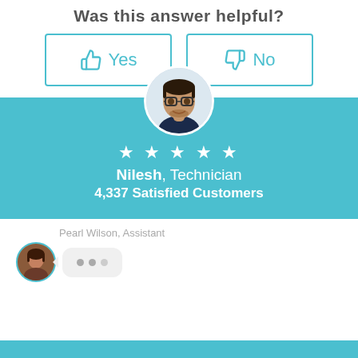Was this answer helpful?
[Figure (screenshot): Two buttons: a thumbs-up 'Yes' button and a thumbs-down 'No' button, both with teal borders and teal icons, used for feedback voting.]
[Figure (infographic): Blue/teal banner with a circular avatar of a man with glasses (Nilesh), 5 white stars, name 'Nilesh, Technician', and '4,337 Satisfied Customers']
Nilesh, Technician
4,337 Satisfied Customers
Pearl Wilson, Assistant
[Figure (screenshot): Chat interface showing Pearl Wilson, Assistant with a circular avatar and a typing indicator bubble with three dots.]